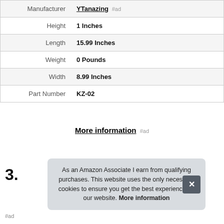|  |  |
| --- | --- |
| Manufacturer | YTanazing #ad |
| Height | 1 Inches |
| Length | 15.99 Inches |
| Weight | 0 Pounds |
| Width | 8.99 Inches |
| Part Number | KZ-02 |
More information #ad
3.
As an Amazon Associate I earn from qualifying purchases. This website uses the only necessary cookies to ensure you get the best experience on our website. More information
#ad